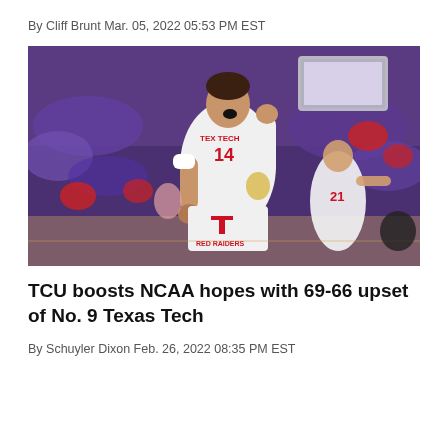By Cliff Brunt Mar. 05, 2022 05:53 PM EST
[Figure (photo): Texas Tech basketball player number 14 celebrating on the court with fist pump, crowd in background, player number 21 in background pointing]
TCU boosts NCAA hopes with 69-66 upset of No. 9 Texas Tech
By Schuyler Dixon Feb. 26, 2022 08:35 PM EST